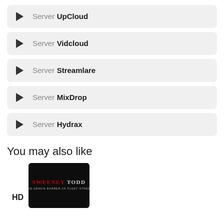Server UpCloud
Server Vidcloud
Server Streamlare
Server MixDrop
Server Hydrax
You may also like
HD
[Figure (photo): Movie thumbnail for Sweeney Todd: The Demon Barber of Fleet Street]